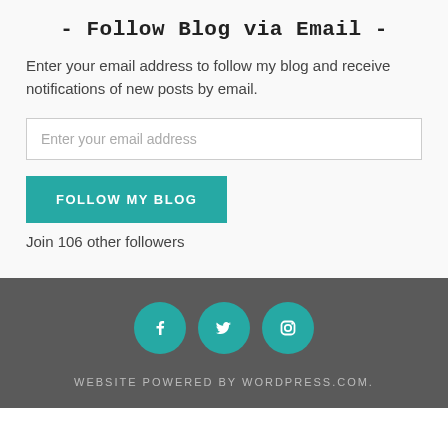- Follow Blog via Email -
Enter your email address to follow my blog and receive notifications of new posts by email.
Enter your email address
FOLLOW MY BLOG
Join 106 other followers
[Figure (infographic): Three teal circular social media icons: Facebook, Twitter, Instagram]
WEBSITE POWERED BY WORDPRESS.COM.